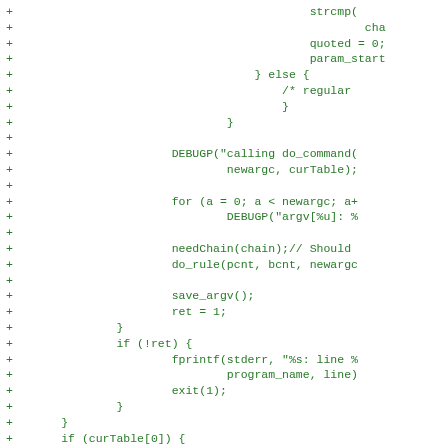Code diff snippet showing added lines (+) with C code including strcmp, quoted, param_start, else block, DEBUGP calls, for loop, needChain, do_rule, save_argv, ret, if(!ret), fprintf, exit, curTable checks